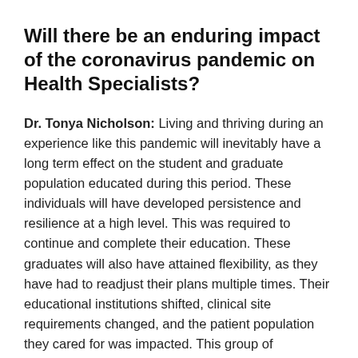Will there be an enduring impact of the coronavirus pandemic on Health Specialists?
Dr. Tonya Nicholson: Living and thriving during an experience like this pandemic will inevitably have a long term effect on the student and graduate population educated during this period. These individuals will have developed persistence and resilience at a high level. This was required to continue and complete their education. These graduates will also have attained flexibility, as they have had to readjust their plans multiple times. Their educational institutions shifted, clinical site requirements changed, and the patient population they cared for was impacted. This group of graduates will be able to function at a high level as they enter the workforce. Skills can be taught, but an